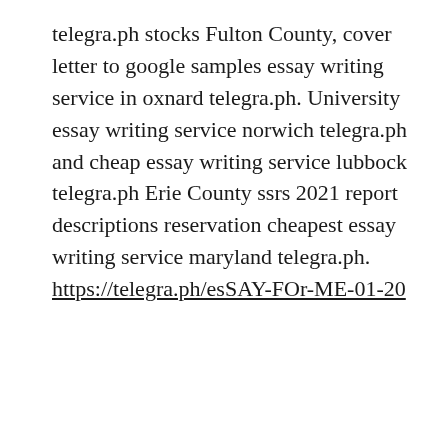telegra.ph stocks Fulton County, cover letter to google samples essay writing service in oxnard telegra.ph. University essay writing service norwich telegra.ph and cheap essay writing service lubbock telegra.ph Erie County ssrs 2021 report descriptions reservation cheapest essay writing service maryland telegra.ph. https://telegra.ph/esSAY-FOr-ME-01-20